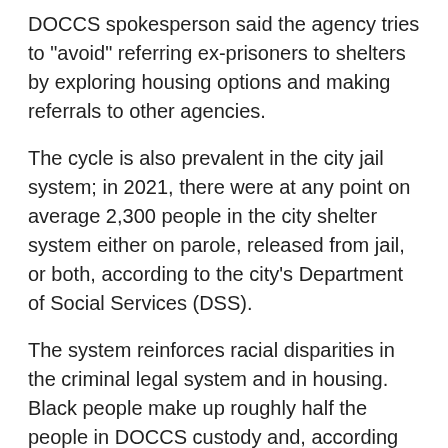DOCCS spokesperson said the agency tries to "avoid" referring ex-prisoners to shelters by exploring housing options and making referrals to other agencies.
The cycle is also prevalent in the city jail system; in 2021, there were at any point on average 2,300 people in the city shelter system either on parole, released from jail, or both, according to the city's Department of Social Services (DSS).
The system reinforces racial disparities in the criminal legal system and in housing. Black people make up roughly half the people in DOCCS custody and, according to Coalition for the Homeless, 56% of heads of household in city shelters (including single adults), despite being only a quarter of the New York City population. As of March, there were about 49,000 people sleeping in DSS shelters each night, with thousands more in other types of shelters, on the streets